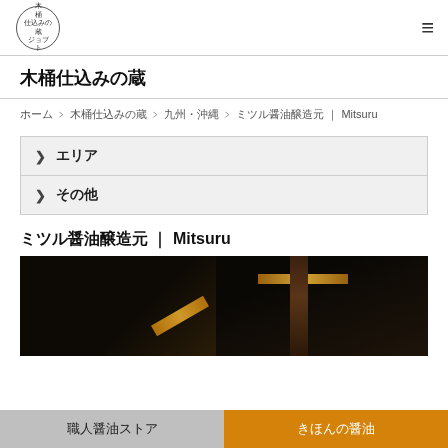木桶仕込みの蔵 ジョブ
木桶仕込みの蔵
ホーム ＞ 木桶仕込みの蔵 ＞ 九州・沖縄 ＞ ミツル醤油醸造元 | Mitsuru
＞ エリア
＞ その他
ミツル醤油醸造元 | Mitsuru
[Figure (photo): Dark interior of a traditional wooden soy sauce brewery (kura) with warm yellow-orange light strips illuminating wooden beams and barrels in near-darkness]
職人醤油ストア　きほんの醤油